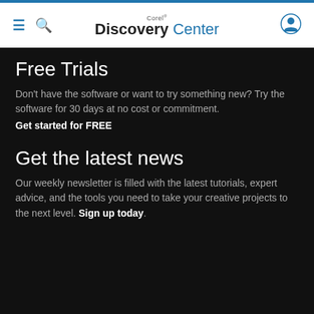Corel Discovery Center
Free Trials
Don't have the software or want to try something new? Try the software for 30 days at no cost or commitment.
Get started for FREE
Get the latest news
Our weekly newsletter is filled with the latest tutorials, expert advice, and the tools you need to take your creative projects to the next level. Sign up today.